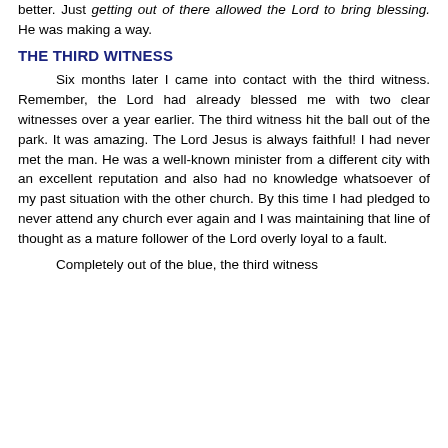better. Just getting out of there allowed the Lord to bring blessing. He was making a way.
THE THIRD WITNESS
Six months later I came into contact with the third witness. Remember, the Lord had already blessed me with two clear witnesses over a year earlier. The third witness hit the ball out of the park. It was amazing. The Lord Jesus is always faithful! I had never met the man. He was a well-known minister from a different city with an excellent reputation and also had no knowledge whatsoever of my past situation with the other church. By this time I had pledged to never attend any church ever again and I was maintaining that line of thought as a mature follower of the Lord overly loyal to a fault.
Completely out of the blue, the third witness